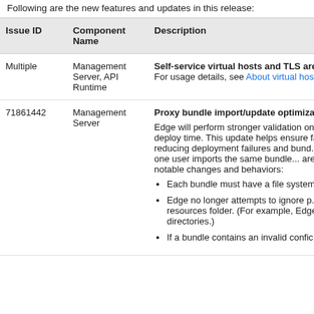Following are the new features and updates in this release:
| Issue ID | Component Name | Description |
| --- | --- | --- |
| Multiple | Management Server, API Runtime | Self-service virtual hosts and TLS are n...
For usage details, see About virtual hos... |
| 71861442 | Management Server | Proxy bundle import/update optimizat...
Edge will perform stronger validation on deploy time. This update helps ensure fa... reducing deployment failures and bund... than one user imports the same bundle... are notable changes and behaviors:
• Each bundle must have a file system...
• Edge no longer attempts to ignore p... resources folder. (For example, Edge .svn directories.)
• If a bundle contains an invalid confic... |